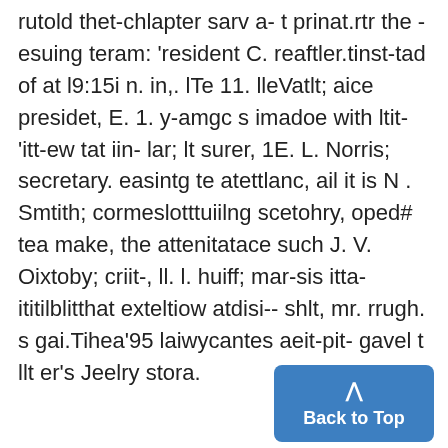rutold thet-chlapter sarv a- t prinat.rtr the - esuing teram: 'resident C. reaftler.tinst-tad of at l9:15i n. in,. lTe 11. lleVatlt; aice presidet, E. 1. y-amgc s imadoe with ltit-'itt-ew tat iin- lar; lt surer, 1E. L. Norris; secretary. easintg te atettlanc, ail it is N . Smtith; cormeslotttuiilng scetohry, oped# tea make, the attenitatace such J. V. Oixtoby; criit-, ll. l. huiff; mar-sis itta-ititilblitthat exteltiow atdisi-- shlt, mr. rrugh. s gai.Tihea'95 laiwycantes aeit-pit- gavel t llt er's Jeelry stora.